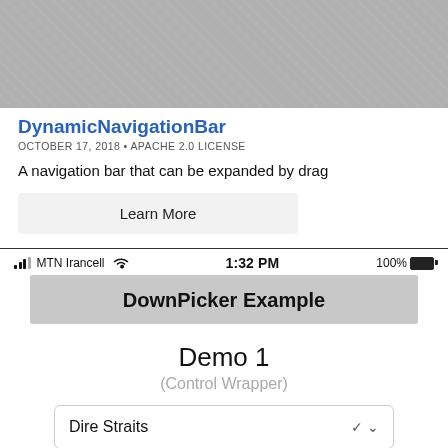[Figure (screenshot): Gray patterned background area at top of page]
DynamicNavigationBar
OCTOBER 17, 2018 • APACHE 2.0 LICENSE
A navigation bar that can be expanded by drag
Learn More
[Figure (screenshot): Mobile app screenshot showing status bar with MTN Irancell, 1:32 PM, 100% battery, then a navigation bar labeled 'DownPicker Example', then 'Demo 1' heading, '(Control Wrapper)' subtitle, and a dropdown showing 'Dire Straits']